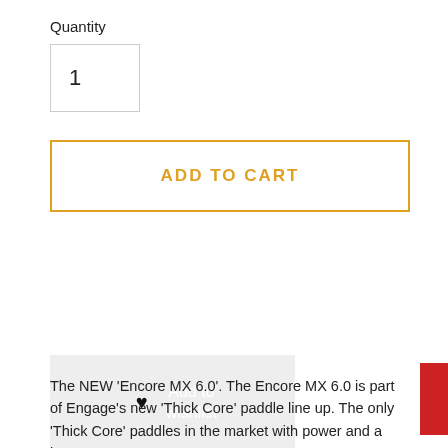Quantity
1
ADD TO CART
Add to wishlist
The NEW 'Encore MX 6.0'.  The Encore MX 6.0 is part of Engage's new 'Thick Core' paddle line up.  The only 'Thick Core' paddles in the market with power and a large sweet spot.